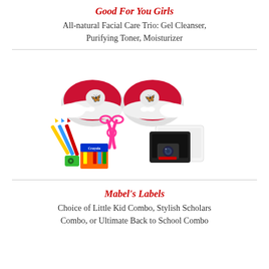Good For You Girls
All-natural Facial Care Trio: Gel Cleanser, Purifying Toner, Moisturizer
[Figure (photo): Two red baby/toddler shoes with butterfly logo and white bow detail, plus art supplies including colored pencils, pink scissors, crayons in a Crayola box, green pencil sharpener, and a digital camera with tablet/screen in background]
Mabel's Labels
Choice of Little Kid Combo, Stylish Scholars Combo, or Ultimate Back to School Combo